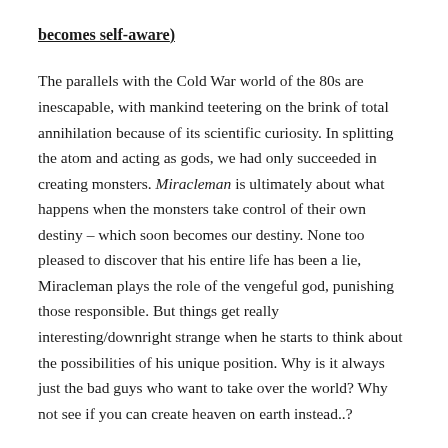becomes self-aware)
The parallels with the Cold War world of the 80s are inescapable, with mankind teetering on the brink of total annihilation because of its scientific curiosity. In splitting the atom and acting as gods, we had only succeeded in creating monsters. Miracleman is ultimately about what happens when the monsters take control of their own destiny – which soon becomes our destiny. None too pleased to discover that his entire life has been a lie, Miracleman plays the role of the vengeful god, punishing those responsible. But things get really interesting/downright strange when he starts to think about the possibilities of his unique position. Why is it always just the bad guys who want to take over the world? Why not see if you can create heaven on earth instead..?
(It's been noted before, but the apparent dichotomy between the two main series that Moore wrote for Warrior is intriguing: in V For Vendetta, the lone fighter against a fascist government str…